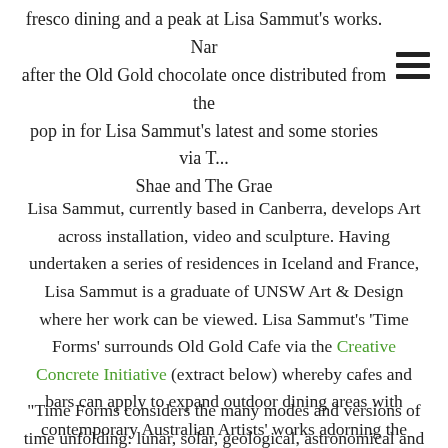fresco dining and a peak at Lisa Sammut's works. Nar after the Old Gold chocolate once distributed from the pop in for Lisa Sammut's latest and some stories via ... Shae and The Grae
Lisa Sammut, currently based in Canberra, develops Art across installation, video and sculpture. Having undertaken a series of residences in Iceland and France, Lisa Sammut is a graduate of UNSW Art & Design where her work can be viewed. Lisa Sammut's 'Time Forms' surrounds Old Gold Cafe via the Creative Concrete Initiative (extract below) whereby cafes and bars can apply to expand outdoor dining areas with contemporary Australian Artists' works adorning the concrete safety barriers
"Time Forms considers the many modes and versions of time unfolding: lunar, solar, geological, astronomical and